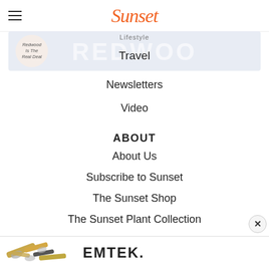Sunset
[Figure (screenshot): Navigation banner with Lifestyle and Travel links, REDWOOD text in background, and a circular badge reading 'Redwood Is The Real Deal']
Lifestyle
Travel
Newsletters
Video
ABOUT
About Us
Subscribe to Sunset
The Sunset Shop
The Sunset Plant Collection
Site Map
CONTACT
[Figure (photo): EMTEK advertisement banner with decorative hardware pieces (door knobs and handles) on left and EMTEK logo text on right]